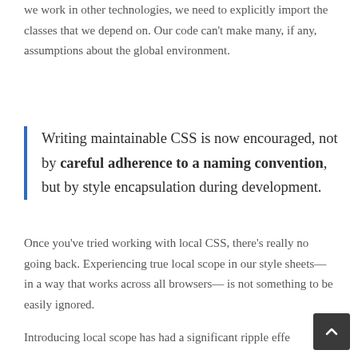we work in other technologies, we need to explicitly import the classes that we depend on. Our code can't make many, if any, assumptions about the global environment.
Writing maintainable CSS is now encouraged, not by careful adherence to a naming convention, but by style encapsulation during development.
Once you've tried working with local CSS, there's really no going back. Experiencing true local scope in our style sheets—in a way that works across all browsers— is not something to be easily ignored.
Introducing local scope has had a significant ripple effect on how we approach our CSS. Naming conventions